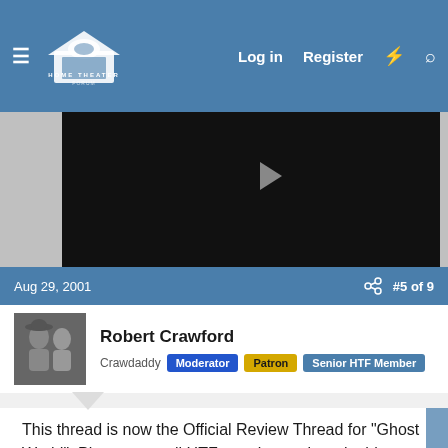Home Theater Forum — Log in | Register
[Figure (screenshot): Black video/media player area with grey sidebar visible on left]
Aug 29, 2001   #5 of 9
Robert Crawford
Crawdaddy  Moderator  Patron  Senior HTF Member
This thread is now the Official Review Thread for "Ghost World". Please post all HTF member reviews in this thread. Any other comments, links to other reviews, or discussion items will be deleted from this thread without warning! If you need to discuss those type of issues, I have designated an Official Discussion Thread which can be found at this link. Again, without warning, I will delete all posts that are not a...